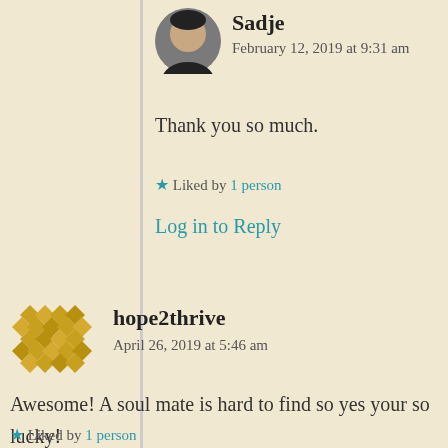[Figure (photo): Profile photo of Sadje - circular avatar showing a woman]
Sadje
February 12, 2019 at 9:31 am
Thank you so much.
Liked by 1 person
Log in to Reply
[Figure (logo): hope2thrive geometric pattern avatar icon in gold/yellow diamond shapes]
hope2thrive
April 26, 2019 at 5:46 am
Awesome! A soul mate is hard to find so yes your so lucky!
Liked by 1 person
Log in to Reply